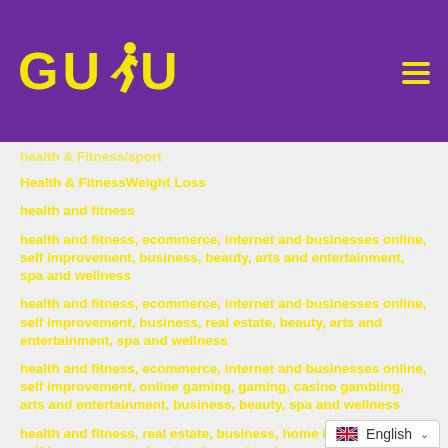[Figure (logo): GUDU logo with yellow text and running figure on purple background, with hamburger menu icon]
health & Fitness/sport
Health & FitnessWeight Loss
health and fitness
health and fitness, ecommerce, internet and businesses online, self improvement, business, beauty, arts and entertainment, spa and wellness
health and fitness, ecommerce, internet and businesses online, self improvement, business, real estate, beauty, arts and entertainment, spa and wellness
health and fitness, ecommerce, internet and businesses online, self improvement, online gaming, gaming, casino gambling, arts and entertainment, business, beauty, spa and wellness
health and fitness, real estate, business, home improvement, self improvement, cleaning tips and tools, organizing, moving
[Figure (illustration): English language selector with UK flag and dropdown chevron]